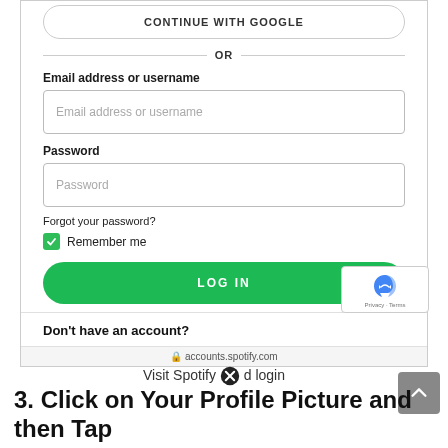[Figure (screenshot): Spotify login page screenshot showing: Continue with Google button, OR divider, Email address or username field, Password field, Forgot your password? link, Remember me checkbox (checked/green), LOG IN button, reCAPTCHA badge, Don't have an account? text, accounts.spotify.com URL bar.]
Visit Spotify and login
3. Click on Your Profile Picture and then Tap